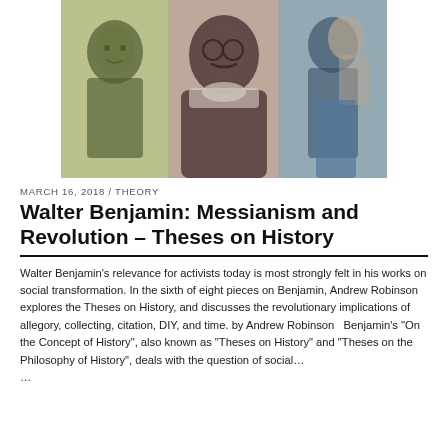[Figure (photo): Artistic collage photo of Walter Benjamin and other figures with stylized green, purple, and blue tonal treatment]
MARCH 16, 2018 / THEORY
Walter Benjamin: Messianism and Revolution – Theses on History
Walter Benjamin's relevance for activists today is most strongly felt in his works on social transformation. In the sixth of eight pieces on Benjamin, Andrew Robinson explores the Theses on History, and discusses the revolutionary implications of allegory, collecting, citation, DIY, and time. by Andrew Robinson   Benjamin's "On the Concept of History", also known as "Theses on History" and "Theses on the Philosophy of History", deals with the question of social… …